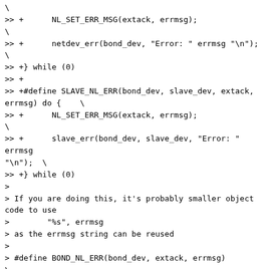>> +      NL_SET_ERR_MSG(extack, errmsg);\
>> +      netdev_err(bond_dev, "Error: " errmsg "\n");\
>> +} while (0)
>> +
>> +#define SLAVE_NL_ERR(bond_dev, slave_dev, extack, errmsg) do {    \
>> +      NL_SET_ERR_MSG(extack, errmsg);\
>> +      slave_err(bond_dev, slave_dev, "Error: " errmsg "\n");  \
>> +} while (0)
>
> If you are doing this, it's probably smaller object code to use
>        "%s", errmsg
> as the errmsg string can be reused
>
> #define BOND_NL_ERR(bond_dev, extack, errmsg)\
> do {   \
>
>        NL_SET_ERR_MSG(extack, errmsg);\
>
>        netdev_err(bond_dev, "Error: %s\n", errmsg);\
>
> } while (0)
>